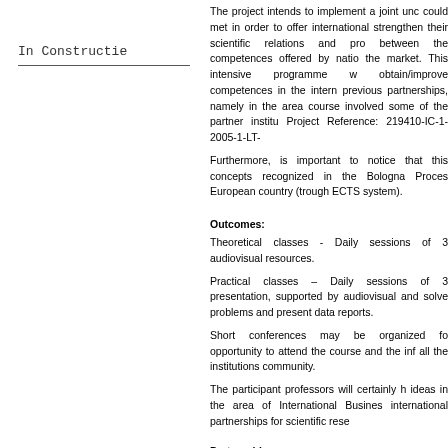In Constructie
The project intends to implement a joint unc could met in order to offer international strengthen their scientific relations and pro between the competences offered by natio the market. This intensive programme w obtain/improve competences in the intern previous partnerships, namely in the area course involved some of the partner institu Project Reference: 219410-IC-1-2005-1-LT-
Furthermore, is important to notice that this concepts recognized in the Bologna Proces European country (trough ECTS system).
Outcomes:
Theoretical classes - Daily sessions of 3 audiovisual resources.
Practical classes – Daily sessions of 3 presentation, supported by audiovisual and solve problems and present data reports.
Short conferences may be organized fo opportunity to attend the course and the inf all the institutions community.
The participant professors will certainly h ideas in the area of International Busines international partnerships for scientific rese
Partnership: